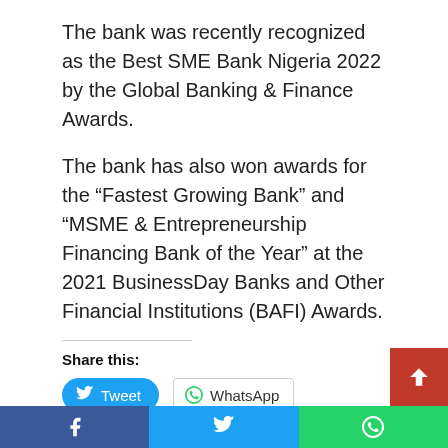The bank was recently recognized as the Best SME Bank Nigeria 2022 by the Global Banking & Finance Awards.
The bank has also won awards for the “Fastest Growing Bank” and “MSME & Entrepreneurship Financing Bank of the Year” at the 2021 BusinessDay Banks and Other Financial Institutions (BAFI) Awards.
Share this:
[Figure (other): Tweet button (Twitter/X) and WhatsApp share button]
Like this:
Loading...
[Figure (other): Back to top red button with up-arrow, and bottom social sharing bar with Facebook (blue), Twitter (blue), WhatsApp (green) icons]